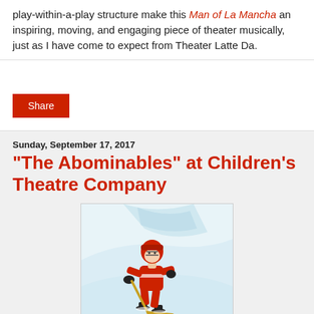play-within-a-play structure make this Man of La Mancha an inspiring, moving, and engaging piece of theater musically, just as I have come to expect from Theater Latte Da.
Share
Sunday, September 17, 2017
"The Abominables" at Children's Theatre Company
[Figure (illustration): Illustration of a hockey player in a red uniform skating on ice, holding a hockey stick, with a blue-tinted ice rink background.]